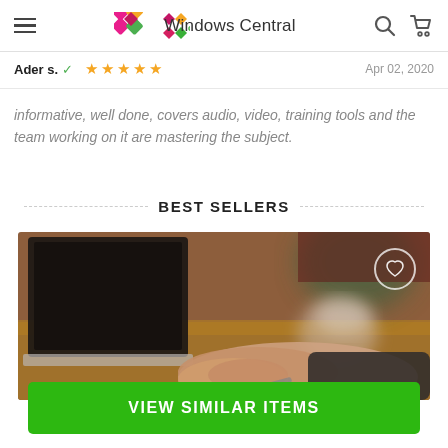Windows Central
Ader s. ✓  ★★★★★  Apr 02, 2020
informative, well done, covers audio, video, training tools and the team working on it are mastering the subject.
BEST SELLERS
[Figure (photo): Blurred photo of a person's hand using a laptop, with a pen, on a wooden desk. A coffee cup is visible in the background.]
VIEW SIMILAR ITEMS